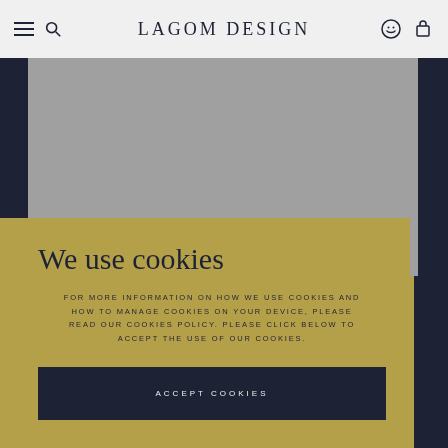LAGOM DESIGN
[Figure (screenshot): Gray image placeholder area]
STORIES LIFESTYLE
CAKES, GARTERS AND BUTTONHOLES
We use cookies
FOR MORE INFORMATION ON HOW WE USE COOKIES AND HOW TO MANAGE COOKIES ON YOUR DEVICE, PLEASE READ OUR COOKIES POLICY. PLEASE CLICK BELOW TO ACCEPT THE USE OF OUR COOKIES.
ACCEPT COOKIES